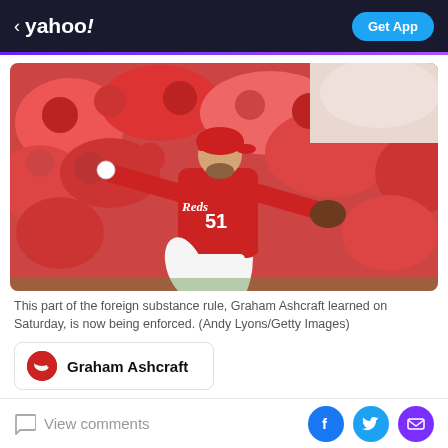< yahoo!  Get App
[Figure (photo): Cincinnati Reds pitcher Graham Ashcraft (#51) in a red uniform mid-pitch delivery, crowd of fans in red in the background]
This part of the foreign substance rule, Graham Ashcraft learned on Saturday, is now being enforced. (Andy Lyons/Getty Images)
Graham Ashcraft
View comments